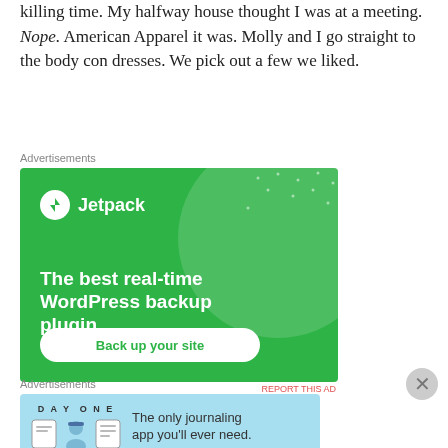killing time. My halfway house thought I was at a meeting. Nope. American Apparel it was. Molly and I go straight to the body con dresses. We pick out a few we liked.
Advertisements
[Figure (illustration): Jetpack WordPress backup plugin advertisement. Green background with white circle graphic and dot pattern. Shows Jetpack logo (lightning bolt icon) with text 'The best real-time WordPress backup plugin' and a 'Back up your site' button.]
REPORT THIS AD
Advertisements
[Figure (illustration): DayOne journaling app advertisement. Light blue background with DAY ONE text, three app icons, and text 'The only journaling app you'll ever need.']